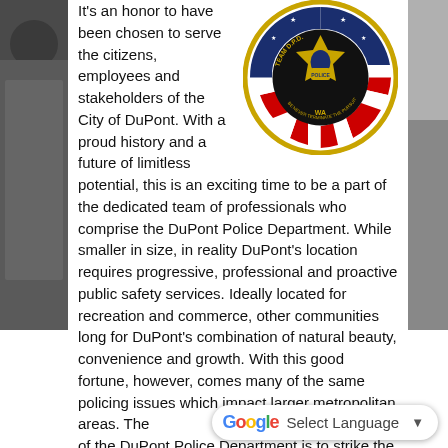[Figure (photo): Left side portrait photo strip of a person, partially visible]
It's an honor to have been chosen to serve the citizens, employees and stakeholders of the City of DuPont. With a proud history and a future of limitless potential, this is an exciting time to be a part of the dedicated team of professionals who comprise the DuPont Police Department. While smaller in size, in reality DuPont's location requires progressive, professional and proactive public safety services. Ideally located for recreation and commerce, other communities long for DuPont's combination of natural beauty, convenience and growth. With this good fortune, however, comes many of the same policing issues which impact larger metropolitan areas. The of the DuPont Police Department is to strike the
[Figure (logo): DuPont Police Department challenge coin/badge — circular coin with stars and stripes border, center police badge, text reading TEAM D.P.D., WA, BE NEVER TERMINATE THE PURSUIT OF EXCELLENCE]
[Figure (photo): Right side partial photo strip, appears to show a motorcycle or vehicle]